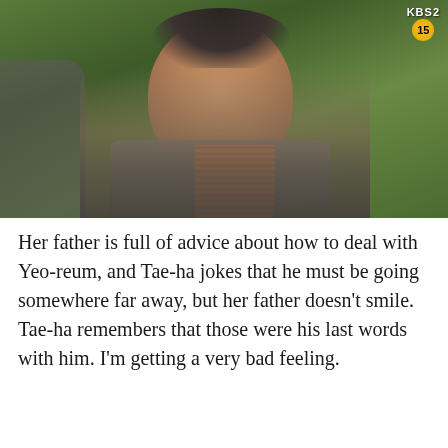[Figure (screenshot): A screenshot from a KBS2 Korean drama showing a middle-aged Korean man in a gray vest over a plaid shirt, standing outdoors with green foliage in the background. A KBS2 logo with a '15' rating badge appears in the top right corner. Another figure is partially visible on the left edge.]
Her father is full of advice about how to deal with Yeo-reum, and Tae-ha jokes that he must be going somewhere far away, but her father doesn't smile. Tae-ha remembers that those were his last words with him. I'm getting a very bad feeling.